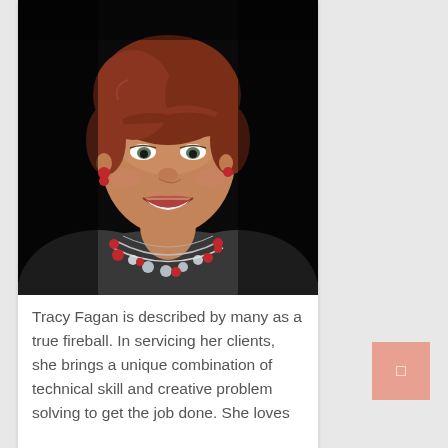[Figure (photo): Professional headshot of Tracy Fagan, a woman with short auburn/reddish-brown hair, smiling, wearing a gray knit top and a multi-strand necklace with red and crystal beads, against a dark/black background.]
Tracy Fagan is described by many as a true fireball. In servicing her clients, she brings a unique combination of technical skill and creative problem solving to get the job done. She loves